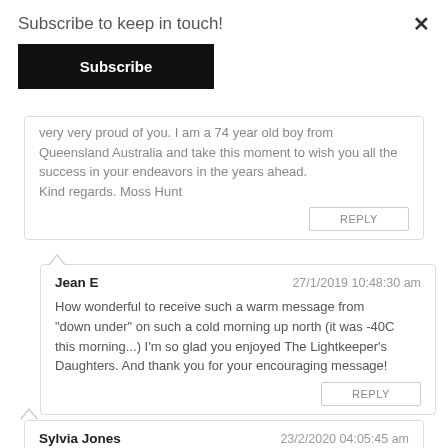Subscribe to keep in touch!
Subscribe
very very proud of you. I am a 74 year old boy from Queensland Australia and take this moment to wish you all the success in your endeavors in the years ahead.
Kind regards. Moss Hunt
REPLY
Jean E  27/1/2019 10:48:30 am
How wonderful to receive such a warm message from "down under" on such a cold morning up north (it was -40C this morning...) I'm so glad you enjoyed The Lightkeeper's Daughters. And thank you for your encouraging message!
REPLY
Sylvia Jones  23/2/2020 04:05:45 am